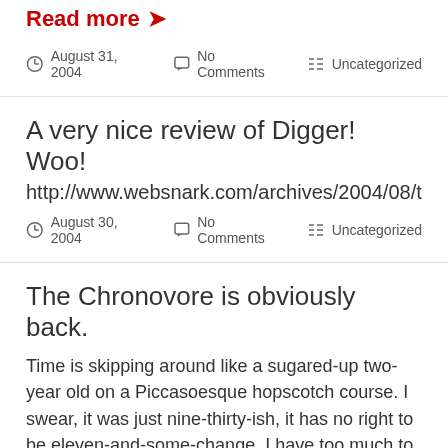Read more →
August 31, 2004   No Comments   Uncategorized
A very nice review of Digger! Woo!
http://www.websnark.com/archives/2004/08/trodding_th
August 30, 2004   No Comments   Uncategorized
The Chronovore is obviously back.
Time is skipping around like a sugared-up two-year old on a Piccasoesque hopscotch course. I swear, it was just nine-thirty-ish, it has no right to be eleven-and-some-change. I have too much to do today. Time is forbidden to progress at this unseemly rate. I haven't even been in the studio ONCE this morning,